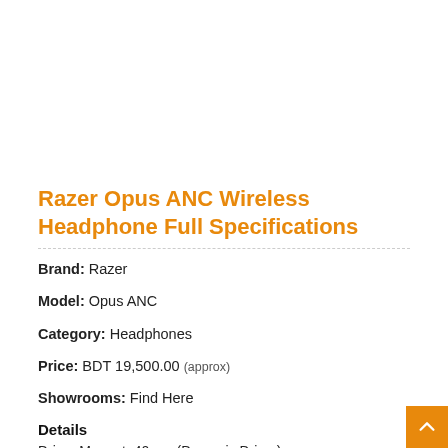Razer Opus ANC Wireless Headphone Full Specifications
Brand: Razer
Model: Opus ANC
Category: Headphones
Price: BDT 19,500.00 (approx)
Showrooms: Find Here
Details
Driver Magnet: 40mm (Dynamic Driver)